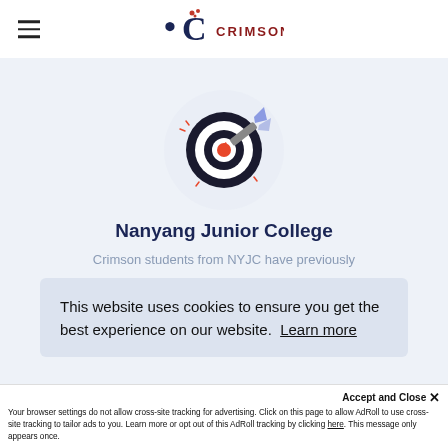[Figure (logo): Crimson Education logo — dark navy C with red gem accent and CRIMSON text in dark red]
[Figure (illustration): Target/bullseye icon with a dart hitting the center, orange and dark blue colors, on a light circular background]
Nanyang Junior College
Crimson students from NYJC have previously
This website uses cookies to ensure you get the best experience on our website.  Learn more
Accept and Close ×
Your browser settings do not allow cross-site tracking for advertising. Click on this page to allow AdRoll to use cross-site tracking to tailor ads to you. Learn more or opt out of this AdRoll tracking by clicking here. This message only appears once.